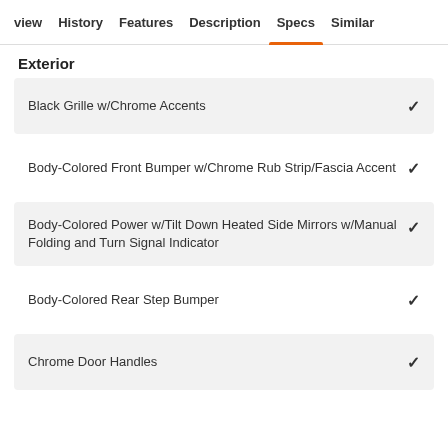view  History  Features  Description  Specs  Similar
Exterior
Black Grille w/Chrome Accents
Body-Colored Front Bumper w/Chrome Rub Strip/Fascia Accent
Body-Colored Power w/Tilt Down Heated Side Mirrors w/Manual Folding and Turn Signal Indicator
Body-Colored Rear Step Bumper
Chrome Door Handles